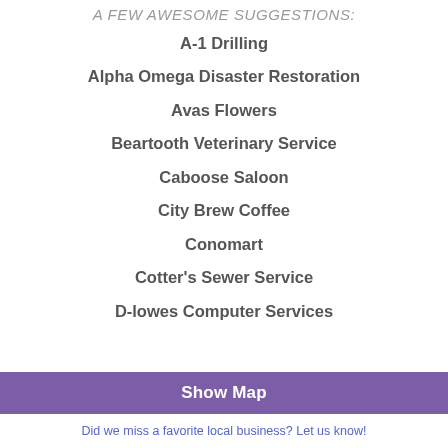A FEW AWESOME SUGGESTIONS:
A-1 Drilling
Alpha Omega Disaster Restoration
Avas Flowers
Beartooth Veterinary Service
Caboose Saloon
City Brew Coffee
Conomart
Cotter's Sewer Service
D-lowes Computer Services
Show Map
Did we miss a favorite local business? Let us know!